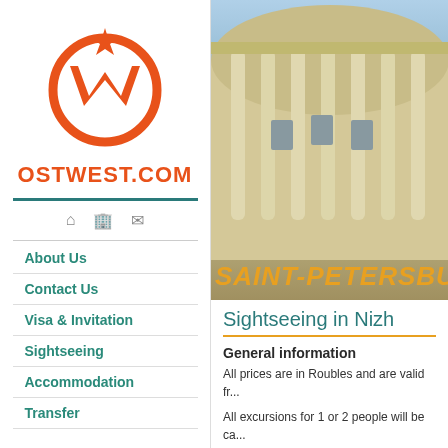[Figure (logo): OstWest.com orange logo with stylized W and star inside a circle]
OSTWEST.COM
About Us
Contact Us
Visa & Invitation
Sightseeing
Accommodation
Transfer
[Figure (photo): Photograph of a neoclassical building with columns against a blue sky, with text 'SAINT-PETERSBU' overlaid in orange italic]
Sightseeing in Nizh
General information
All prices are in Roubles and are valid fr...
All excursions for 1 or 2 people will be ca... we offer Minivans and Minibuses without... English and German.
If you would like to book a guide who sp...